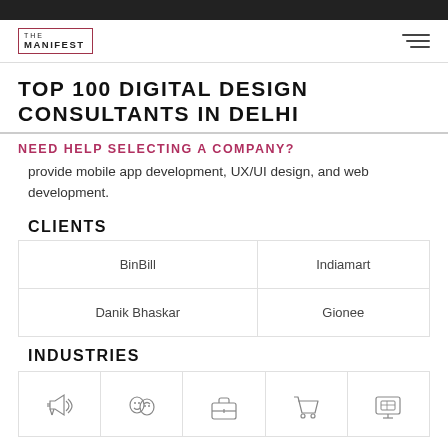THE MANIFEST
TOP 100 DIGITAL DESIGN CONSULTANTS IN DELHI
NEED HELP SELECTING A COMPANY?
provide mobile app development, UX/UI design, and web development.
CLIENTS
| BinBill | Indiamart |
| Danik Bhaskar | Gionee |
INDUSTRIES
[Figure (illustration): Row of 5 industry icons: megaphone/advertising, theater masks/arts, briefcase/business, shopping cart/retail, computer monitor/ecommerce]